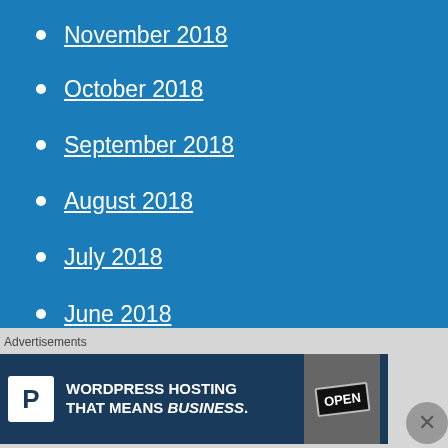November 2018
October 2018
September 2018
August 2018
July 2018
June 2018
May 2018
April 2018
March 2018
February 2018
January 2018
December 2017
November 2017
October 2017
Advertisements
[Figure (infographic): WordPress Hosting That Means BUSINESS. advertisement banner with Pressable logo and OPEN sign image.]